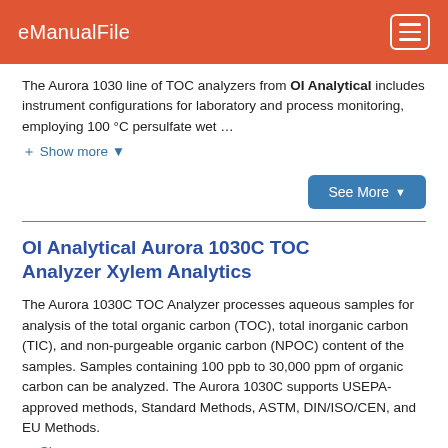eManualFile
The Aurora 1030 line of TOC analyzers from OI Analytical includes instrument configurations for laboratory and process monitoring, employing 100 °C persulfate wet …
+ Show more ▾
See More ▾
OI Analytical Aurora 1030C TOC Analyzer Xylem Analytics
The Aurora 1030C TOC Analyzer processes aqueous samples for analysis of the total organic carbon (TOC), total inorganic carbon (TIC), and non-purgeable organic carbon (NPOC) content of the samples. Samples containing 100 ppb to 30,000 ppm of organic carbon can be analyzed. The Aurora 1030C supports USEPA-approved methods, Standard Methods, ASTM, DIN/ISO/CEN, and EU Methods.
+ Show more ▾